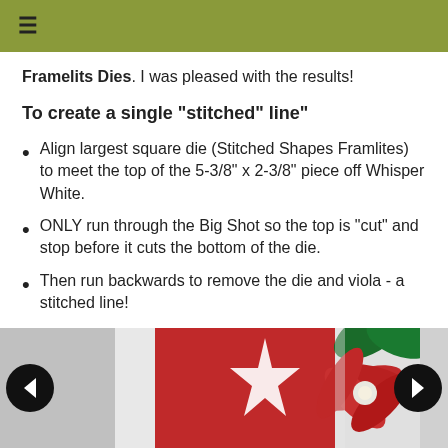≡
Framelits Dies. I was pleased with the results!
To create a single "stitched" line"
Align largest square die (Stitched Shapes Framlites) to meet the top of the 5-3/8" x 2-3/8" piece off Whisper White.
ONLY run through the Big Shot so the top is "cut" and stop before it cuts the bottom of the die.
Then run backwards to remove the die and viola - a stitched line!
[Figure (photo): A red and white craft card with a poinsettia flower decoration, partially visible with navigation arrows on left and right sides.]